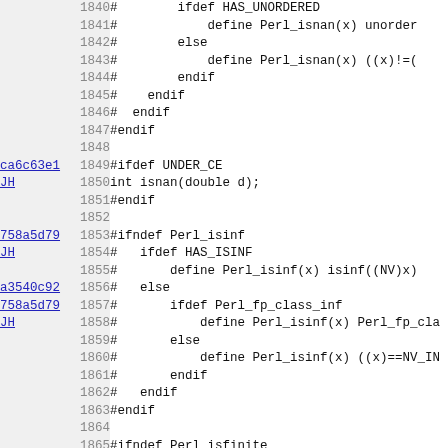[Figure (screenshot): Source code viewer showing C preprocessor code lines 1840-1871 with commit annotations (ca6c63e1, 758a5d79, a3540c92) and author JH on left, line numbers in middle, and code on right with background alternating white and light gray.]